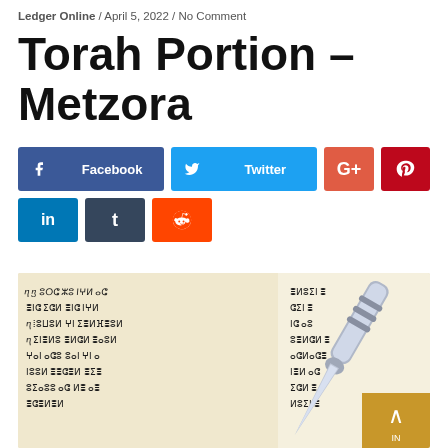Ledger Online / April 5, 2022 / No Comment
Torah Portion – Metzora
[Figure (infographic): Social sharing buttons: Facebook, Twitter, Google+, Pinterest (row 1); LinkedIn, Tumblr, Reddit (row 2)]
[Figure (photo): A silver yad (Torah pointer) resting on an open Torah scroll with Hebrew script visible on the parchment]